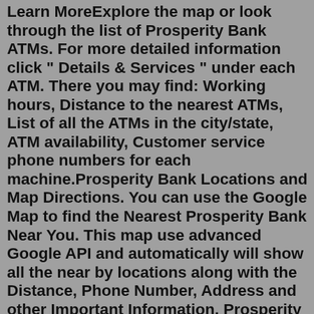Learn MoreExplore the map or look through the list of Prosperity Bank ATMs. For more detailed information click " Details & Services " under each ATM. There you may find: Working hours, Distance to the nearest ATMs, List of all the ATMs in the city/state, ATM availability, Customer service phone numbers for each machine.Prosperity Bank Locations and Map Directions. You can use the Google Map to find the Nearest Prosperity Bank Near You. This map use advanced Google API and automatically will show all the near by locations along with the Distance, Phone Number, Address and other Important Information. Prosperity Bank Official Website : www.prosperitybanktx.com Get directions, reviews and information for PROSPERITY BANK in Lufkin, TX. PROSPERITY BANK 908 S John Redditt Dr Lufkin TX 75904. Menu & Reservations Let life flourish. We provide life insurance, annuities and supplemental health products designed with you and your family in mind so that you can plan for today and protect a stronger tomorrow. Let life flourish. At